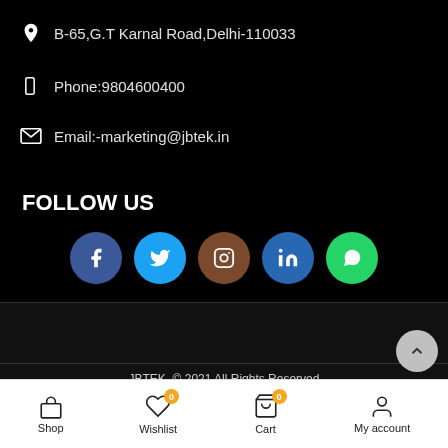B-65,G.T Karnal Road,Delhi-110033
Phone:9804600400
Email:-marketing@jbtek.in
FOLLOW US
[Figure (infographic): Social media icons: Facebook, Twitter, Instagram, LinkedIn, WhatsApp]
JBTEK. © 2021 All Rights Reserved
[Figure (infographic): Payment method logos: VISA, MasterCard, PayPal, American Express, Visa Electron, Maestro]
Shop | Wishlist (0) | Cart (0) | My account